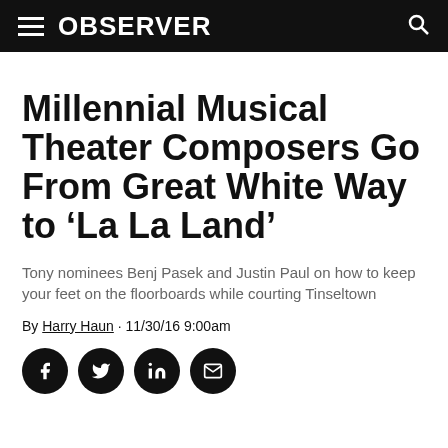OBSERVER
Millennial Musical Theater Composers Go From Great White Way to ‘La La Land’
Tony nominees Benj Pasek and Justin Paul on how to keep your feet on the floorboards while courting Tinseltown
By Harry Haun · 11/30/16 9:00am
[Figure (other): Social sharing icons: Facebook, Twitter, LinkedIn, Email]